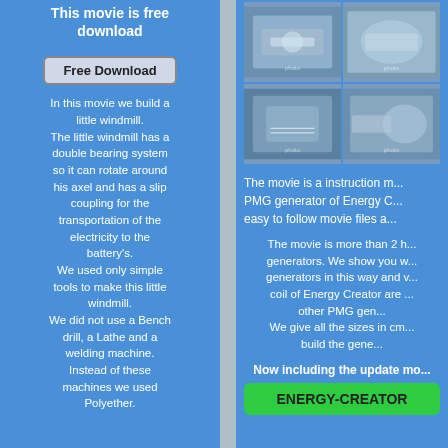This movie is free download
Free Download
In this movie we build a little windmill.
The little windmill has a double bearing system so it can rotate around his axel and has a slip coupling for the transportation of the electricity to the battery's.
We used only simple tools to make this little windmill.
We did not use a Bench drill, a Lathe and a welding machine.
Instead of these machines we used Polyether.
[Figure (photo): Four photos showing hands building a PMG generator — coils, windings, components]
The movie is a instruction m... PMG generator of Energy C... easy to follow movie files a...
The movie is more than 2 h... generators. We show you w... generators in this way and v... coil of Energy Creator are ... other PMG gen... We give all the sizes in cm... build the gene...
Now including the update mo...
ENERGY-CREATOR